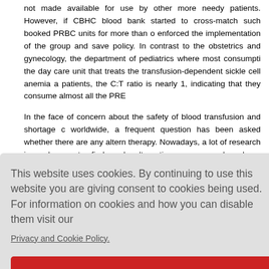not made available for use by other more needy patients. However, if CBHC blood bank started to cross-match such booked PRBC units for more than one day enforced the implementation of the group and save policy. In contrast to the obstetrics and gynecology, the department of pediatrics where most consumption the day care unit that treats the transfusion-dependent sickle cell anemia patients, the C:T ratio is nearly 1, indicating that they consume almost all the PRBC
In the face of concern about the safety of blood transfusion and shortage worldwide, a frequent question has been asked whether there are any alternatives therapy. Nowadays, a lot of research is underway to find such alternatives. progress has been achieved in finding a few promising oxygen carriers and have hardly moved effectively beyond animal trials, real progress that found its
ransfusion.[6
in in the re sfusion in th lar transfu after the
[18],[65]
This website uses cookies. By continuing to use this website you are giving consent to cookies being used. For information on cookies and how you can disable them visit our
Privacy and Cookie Policy.
AGREE & PROCEED